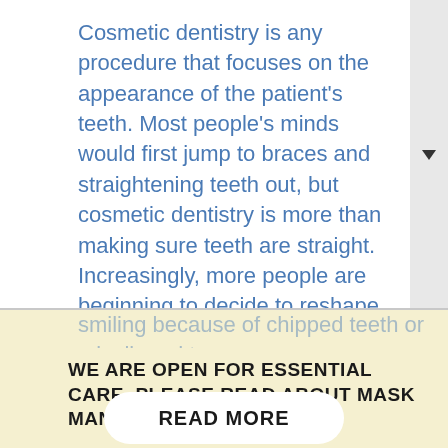Cosmetic dentistry is any procedure that focuses on the appearance of the patient's teeth. Most people's minds would first jump to braces and straightening teeth out, but cosmetic dentistry is more than making sure teeth are straight. Increasingly, more people are beginning to decide to reshape their teeth or fill in gaps with implants, creating a drastic change in the patient's appearance. Many of these procedures can be life-changing for people who are shy about
WE ARE OPEN FOR ESSENTIAL CARE. PLEASE READ ABOUT MASK MANDATES.
READ MORE